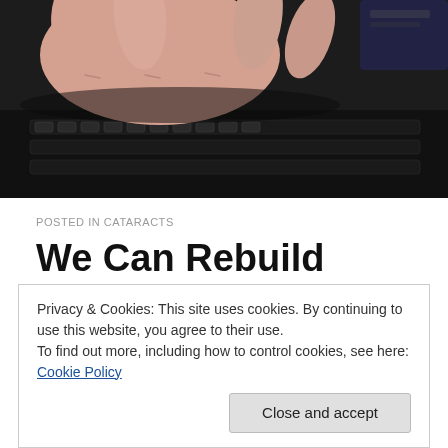[Figure (photo): Close-up photo of a hand pressing keys on a black typewriter or keyboard, with fingers visible on dark mechanical keys.]
POSTED IN CATARACTS
We Can Rebuild Him…
I KNOW THAT I'VE BEEN WRITING a lot about my cataract surgery lately. Some people tell me that they have found it somewhat interesting. Others have called it all
Privacy & Cookies: This site uses cookies. By continuing to use this website, you agree to their use.
To find out more, including how to control cookies, see here: Cookie Policy
Close and accept